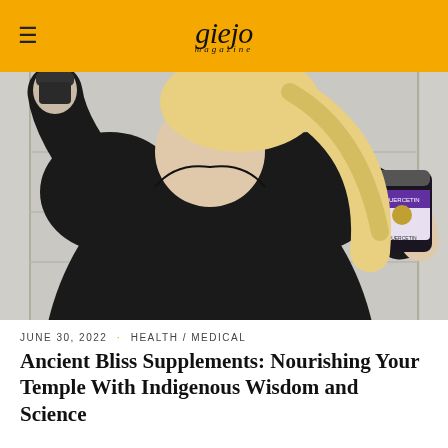giejo magazine
[Figure (photo): Woman in black top holding supplement bottles in both hands, standing against a light-colored wall]
JUNE 30, 2022 · HEALTH / MEDICAL
Ancient Bliss Supplements: Nourishing Your Temple With Indigenous Wisdom and Science